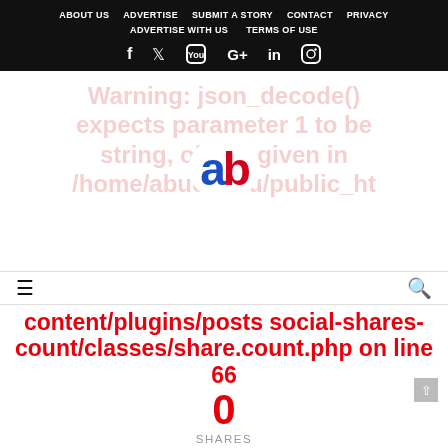ABOUT US  ADVERTISE  SUBMIT A STORY  CONTACT  PRIVACY  ADVERTISE WITH US  TERMS OF USE
[Figure (logo): Website logo showing 'ab' in blue and red letters, overlaid on a faded red PHP warning error message]
Warning: json_decode() expects parameter 1 to be string, object given in /home/abucidinu/public_ht...
content/plugins/posts social-shares-count/classes/share.count.php on line 66
0
SHARES
Share On Facebook  Tweet  (social share buttons)